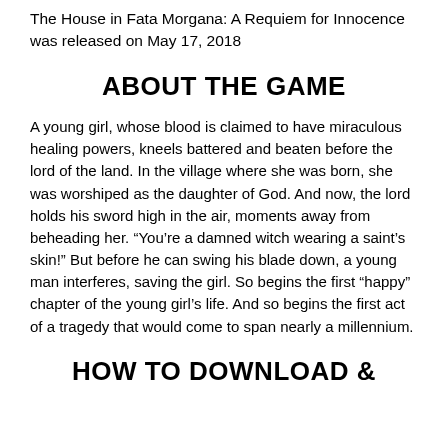The House in Fata Morgana: A Requiem for Innocence was released on May 17, 2018
ABOUT THE GAME
A young girl, whose blood is claimed to have miraculous healing powers, kneels battered and beaten before the lord of the land. In the village where she was born, she was worshiped as the daughter of God. And now, the lord holds his sword high in the air, moments away from beheading her. “You’re a damned witch wearing a saint’s skin!” But before he can swing his blade down, a young man interferes, saving the girl. So begins the first “happy” chapter of the young girl’s life. And so begins the first act of a tragedy that would come to span nearly a millennium.
HOW TO DOWNLOAD &